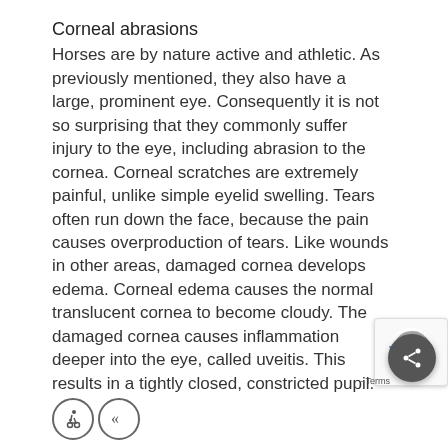Corneal abrasions
Horses are by nature active and athletic. As previously mentioned, they also have a large, prominent eye. Consequently it is not so surprising that they commonly suffer injury to the eye, including abrasion to the cornea. Corneal scratches are extremely painful, unlike simple eyelid swelling. Tears often run down the face, because the pain causes overproduction of tears. Like wounds in other areas, damaged cornea develops edema. Corneal edema causes the normal translucent cornea to become cloudy. The damaged cornea causes inflammation deeper into the eye, called uveitis. This results in a tightly closed, constricted pupil.